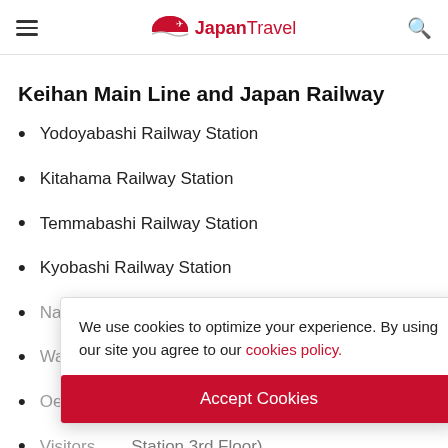Japan Travel (navigation header with logo and search icon)
Keihan Main Line and Japan Railway
Yodoyabashi Railway Station
Kitahama Railway Station
Temmabashi Railway Station
Kyobashi Railway Station
Nakanoshima Railway Station
Watanabebashi Railway Station
Oebashi Railway Station
Visitors (Station 3rd Floor)
We use cookies to optimize your experience. By using our site you agree to our cookies policy.
Accept Cookies